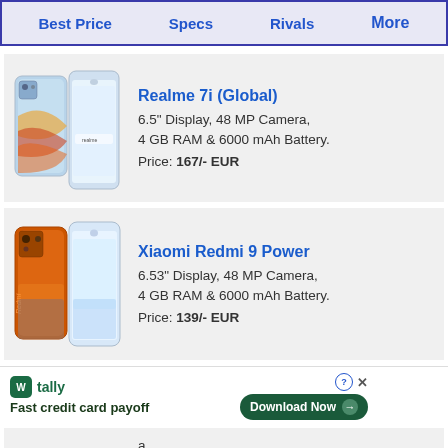Best Price  Specs  Rivals  More
[Figure (photo): Realme 7i (Global) smartphone shown from back and front angles]
Realme 7i (Global)
6.5" Display, 48 MP Camera, 4 GB RAM & 6000 mAh Battery.
Price: 167/- EUR
[Figure (photo): Xiaomi Redmi 9 Power smartphone shown from back and front angles, orange color]
Xiaomi Redmi 9 Power
6.53" Display, 48 MP Camera, 4 GB RAM & 6000 mAh Battery.
Price: 139/- EUR
[Figure (infographic): Tally ad banner: Fast credit card payoff, Download Now button]
a,
ttery.